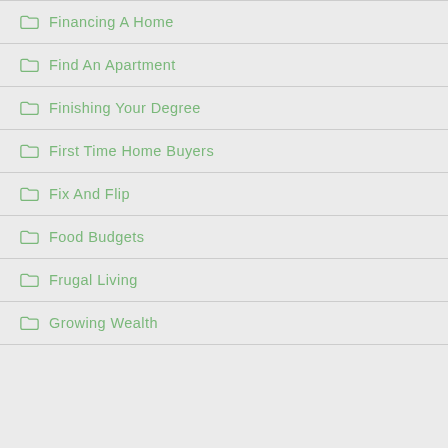Financing A Home
Find An Apartment
Finishing Your Degree
First Time Home Buyers
Fix And Flip
Food Budgets
Frugal Living
Growing Wealth